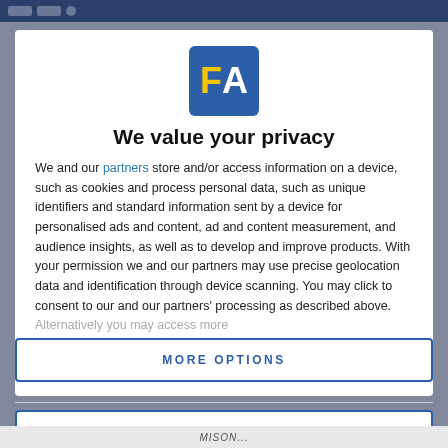[Figure (logo): FA logo — blue square with yellow 'F' and white 'A' letters]
We value your privacy
We and our partners store and/or access information on a device, such as cookies and process personal data, such as unique identifiers and standard information sent by a device for personalised ads and content, ad and content measurement, and audience insights, as well as to develop and improve products. With your permission we and our partners may use precise geolocation data and identification through device scanning. You may click to consent to our and our partners' processing as described above. Alternatively you may access more
AGREE
MORE OPTIONS
MISON...